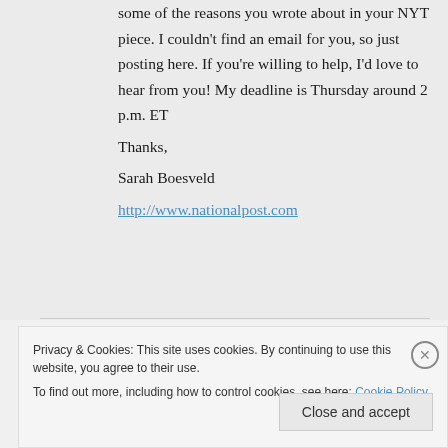some of the reasons you wrote about in your NYT piece. I couldn't find an email for you, so just posting here. If you're willing to help, I'd love to hear from you! My deadline is Thursday around 2 p.m. ET
Thanks,
Sarah Boesveld
http://www.nationalpost.com
Privacy & Cookies: This site uses cookies. By continuing to use this website, you agree to their use.
To find out more, including how to control cookies, see here: Cookie Policy